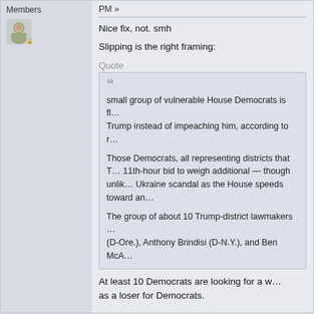Members
PM »
Nice fix, not. smh
Slipping is the right framing:
Quote
small group of vulnerable House Democrats is fl… Trump instead of impeaching him, according to r…

Those Democrats, all representing districts that T… 11th-hour bid to weigh additional — though unlik… Ukraine scandal as the House speeds toward an…

The group of about 10 Trump-district lawmakers … (D-Ore.), Anthony Brindisi (D-N.Y.), and Ben McA…
At least 10 Democrats are looking for a w… as a loser for Democrats.
TheDeamon
Re: The Shampeachement Follies
« Reply #77 on: December 10, 2019, 06:… PM »
Members